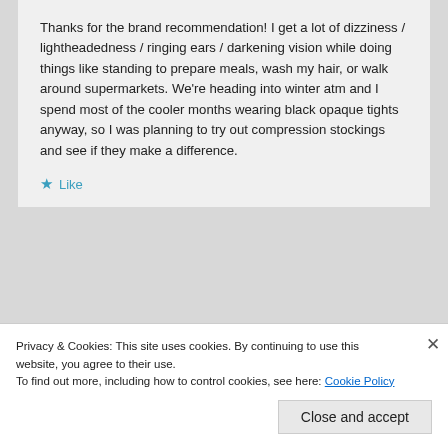Thanks for the brand recommendation! I get a lot of dizziness / lightheadedness / ringing ears / darkening vision while doing things like standing to prepare meals, wash my hair, or walk around supermarkets. We're heading into winter atm and I spend most of the cooler months wearing black opaque tights anyway, so I was planning to try out compression stockings and see if they make a difference.
★ Like
Jackie
Privacy & Cookies: This site uses cookies. By continuing to use this website, you agree to their use.
To find out more, including how to control cookies, see here: Cookie Policy
Close and accept